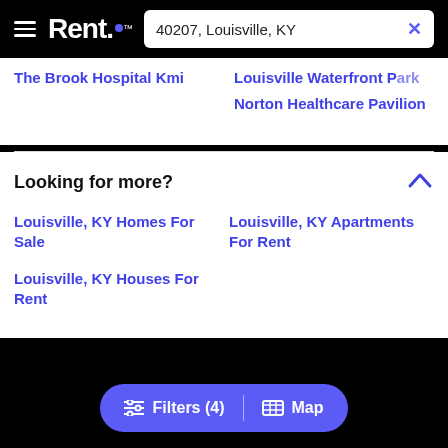Rent. — 40207, Louisville, KY
The Brook Hospital Kmi
Louisville Waterfront Park
Norton Healthcare Pavilion
Looking for more?
Louisville, KY Homes For Sale
Louisville, KY Apartments For Rent
Louisville, KY Houses For Rent
Filters (4)  |  Map